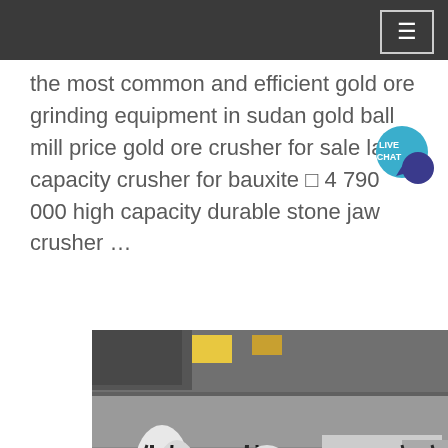the most common and efficient gold ore grinding equipment in sudan gold ball mill price gold ore crusher for sale large capacity crusher for bauxite □ 4 790 000 high capacity durable stone jaw crusher …
[Figure (photo): Industrial photo showing underside of heavy machinery or vehicle on a lift, with hanging chains/cables visible and a truck or vehicle in the background inside an industrial facility.]